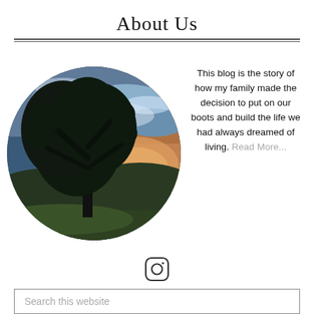About Us
[Figure (photo): Circular cropped photo of a large tree silhouetted against a dramatic sunset sky with clouds and rolling hills in background, green meadow in foreground]
This blog is the story of how my family made the decision to put on our boots and build the life we had always dreamed of living. Read More...
[Figure (logo): Instagram icon (circle with rounded square and dot inside)]
Search this website